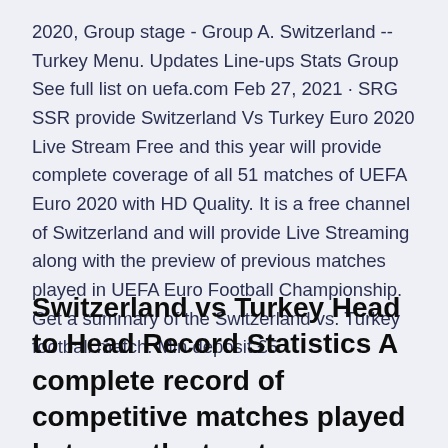2020, Group stage - Group A. Switzerland --Turkey Menu. Updates Line-ups Stats Group See full list on uefa.com Feb 27, 2021 · SRG SSR provide Switzerland Vs Turkey Euro 2020 Live Stream Free and this year will provide complete coverage of all 51 matches of UEFA Euro 2020 with HD Quality. It is a free channel of Switzerland and will provide Live Streaming along with the preview of previous matches played in UEFA Euro Football Championship. Get a summary of the Switzerland vs. Turkey football match. Min deposit £5.
Switzerland vs Turkey Head to Head Record Statistics A complete record of competitive matches played between the two teams